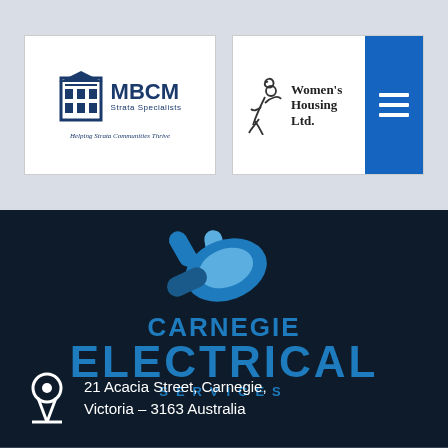[Figure (logo): MBCM Strata Specialists logo with building icon and tagline 'Helping Strata Communities Thrive']
[Figure (logo): Women's Housing Ltd. logo with figure icon and blue menu block]
[Figure (logo): Carnegie Electrical Services logo with blue plug icon on dark background]
21 Acacia Street, Carnegie, Victoria - 3163 Australia